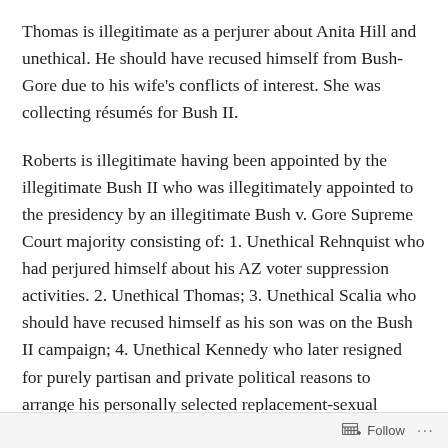Thomas is illegitimate as a perjurer about Anita Hill and unethical. He should have recused himself from Bush-Gore due to his wife's conflicts of interest. She was collecting résumés for Bush II.
Roberts is illegitimate having been appointed by the illegitimate Bush II who was illegitimately appointed to the presidency by an illegitimate Bush v. Gore Supreme Court majority consisting of: 1. Unethical Rehnquist who had perjured himself about his AZ voter suppression activities. 2. Unethical Thomas; 3. Unethical Scalia who should have recused himself as his son was on the Bush II campaign; 4. Unethical Kennedy who later resigned for purely partisan and private political reasons to arrange his personally selected replacement-sexual predator and
Follow ···